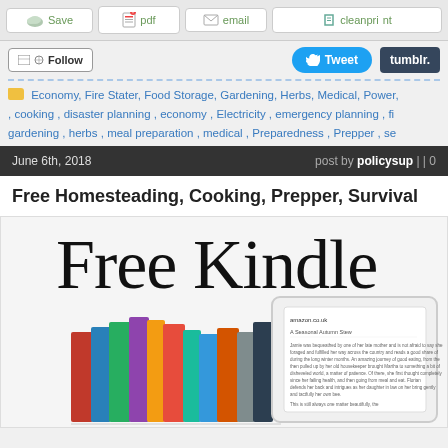[Figure (screenshot): Website toolbar with Save, pdf, email, cleanprint buttons]
[Figure (screenshot): Social sharing row with Follow, Tweet, tumblr buttons]
Economy, Fire Stater, Food Storage, Gardening, Herbs, Medical, Power, , cooking , disaster planning , economy , Electricity , emergency planning , fi gardening , herbs , meal preparation , medical , Preparedness , Prepper , se
June 6th, 2018    post by policysup | | 0
Free Homesteading, Cooking, Prepper, Survival
[Figure (illustration): Large handwritten-style text 'Free Kindle' with stack of books and a Kindle device showing a book page]